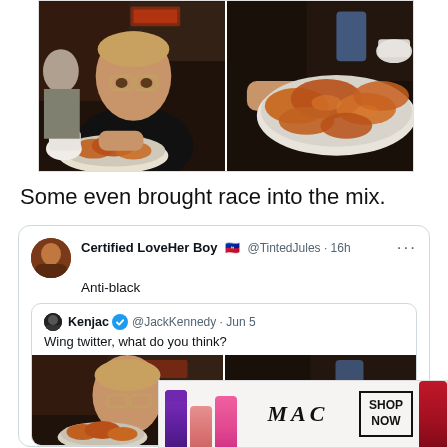[Figure (photo): Two side-by-side photos: left shows a man with glasses in a dark restaurant holding a plate of chicken wings; right shows a close-up of the plate of chicken wings being held.]
Some even brought race into the mix.
[Figure (screenshot): Screenshot of a Twitter/X post by Certified LoveHer Boy @TintedJules 16h saying 'Anti-black', quoting a tweet by Kenjac @JackKennedy from Jun 5 saying 'Wing twitter, what do you think?' with two photos of a man with glasses holding chicken wings.]
[Figure (photo): Advertisement banner for MAC cosmetics showing lipsticks (purple, pink, hot pink) with MAC logo and SHOP NOW button, and a red lipstick on the right.]